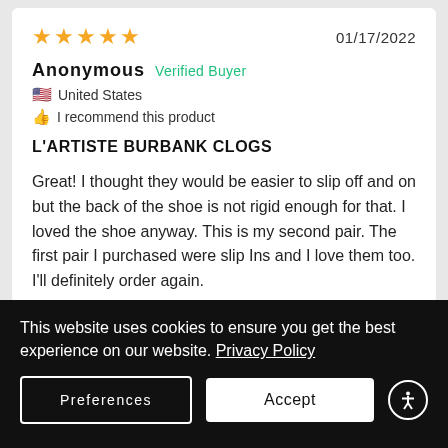★★★★★  01/17/2022
Anonymous  Verified Buyer
🇺🇸 United States
👍 I recommend this product
L'ARTISTE BURBANK CLOGS
Great! I thought they would be easier to slip off and on but the back of the shoe is not rigid enough for that. I loved the shoe anyway. This is my second pair. The first pair I purchased were slip Ins and I love them too. I'll definitely order again.
This website uses cookies to ensure you get the best experience on our website. Privacy Policy
Preferences
Accept